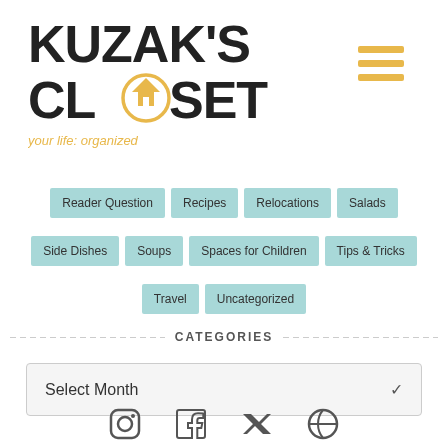[Figure (logo): Kuzak's Closet logo with house icon inside the letter O, tagline: your life: organized]
Reader Question
Recipes
Relocations
Salads
Side Dishes
Soups
Spaces for Children
Tips & Tricks
Travel
Uncategorized
CATEGORIES
Select Month
[Figure (illustration): Social media icons row: Instagram, Facebook, Twitter/X, Pinterest]